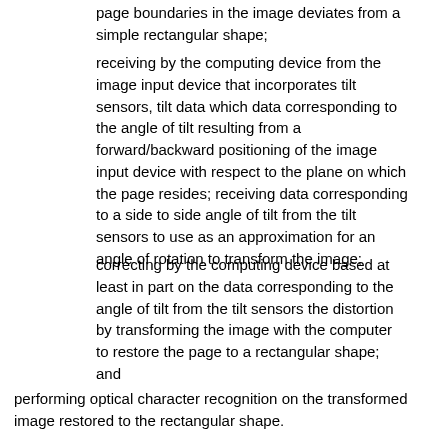page boundaries in the image deviates from a simple rectangular shape;
receiving by the computing device from the image input device that incorporates tilt sensors, tilt data which data corresponding to the angle of tilt resulting from a forward/backward positioning of the image input device with respect to the plane on which the page resides; receiving data corresponding to a side to side angle of tilt from the tilt sensors to use as an approximation for an angle of rotation to transform the image;
correcting by the computing device based at least in part on the data corresponding to the angle of tilt from the tilt sensors the distortion by transforming the image with the computer to restore the page to a rectangular shape; and
performing optical character recognition on the transformed image restored to the rectangular shape.
10. The method of claim 9 further comprising:
determining an angle of rotation of the page needed to align text in the page for optical character recognition on text in the page by performing edge detection on